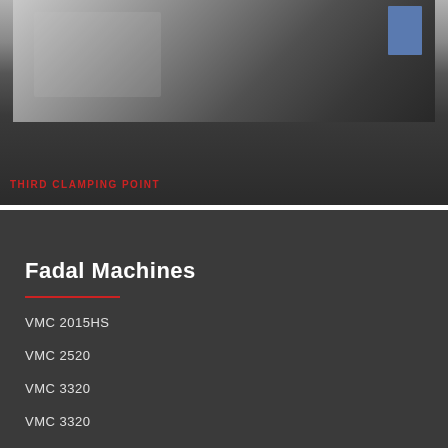[Figure (photo): Black and white photo of a CNC machine interior showing clamping setup and machining components, with red text label 'THIRD CLAMPING POINT' at the bottom left]
THIRD CLAMPING POINT
Fadal Machines
VMC 2015HS
VMC 2520
VMC 3320
VMC 3320